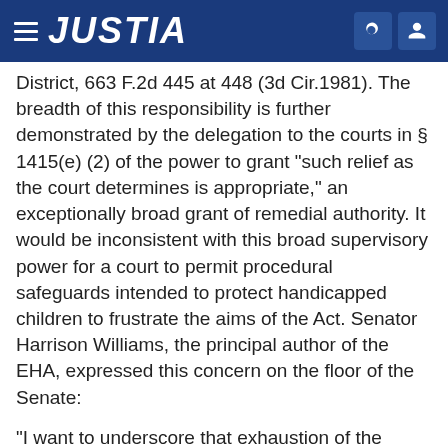JUSTIA
District, 663 F.2d 445 at 448 (3d Cir.1981). The breadth of this responsibility is further demonstrated by the delegation to the courts in § 1415(e) (2) of the power to grant "such relief as the court determines is appropriate," an exceptionally broad grant of remedial authority. It would be inconsistent with this broad supervisory power for a court to permit procedural safeguards intended to protect handicapped children to frustrate the aims of the Act. Senator Harrison Williams, the principal author of the EHA, expressed this concern on the floor of the Senate:
"I want to underscore that exhaustion of the administrative procedures established under this part should not be required for any individual complainant filing a judicial action in cases where such exhaustion would be futile either as a legal or practical matter."